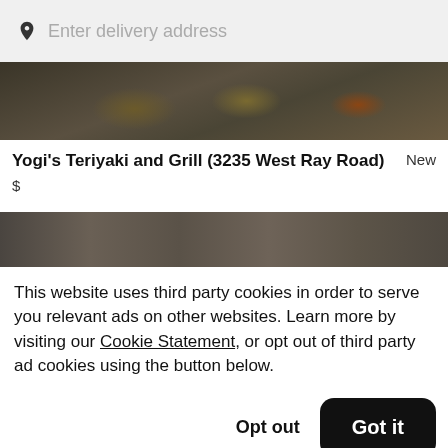Enter delivery address
[Figure (photo): Top portion of food image showing teriyaki bowls]
Yogi's Teriyaki and Grill (3235 West Ray Road)
New
$
[Figure (photo): Bottom portion of restaurant hero image, dark background]
This website uses third party cookies in order to serve you relevant ads on other websites. Learn more by visiting our Cookie Statement, or opt out of third party ad cookies using the button below.
Opt out
Got it